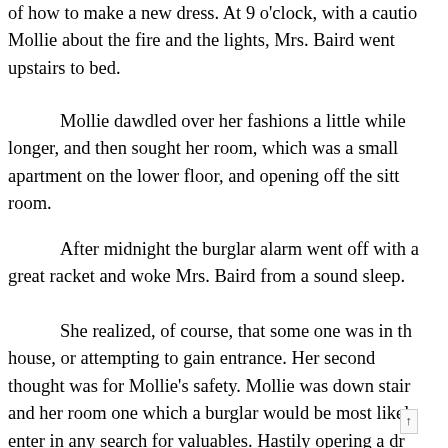of how to make a new dress. At 9 o'clock, with a caution to Mollie about the fire and the lights, Mrs. Baird went upstairs to bed.
Mollie dawdled over her fashions a little while longer, and then sought her room, which was a small apartment on the lower floor, and opening off the sitting room.
After midnight the burglar alarm went off with a great racket and woke Mrs. Baird from a sound sleep.
She realized, of course, that some one was in the house, or attempting to gain entrance. Her second thought was for Mollie's safety. Mollie was down stairs and her room one which a burglar would be most likely enter in any search for valuables. Hastily opening a drawer in the chiffonier which stood in her bedroom, Bai